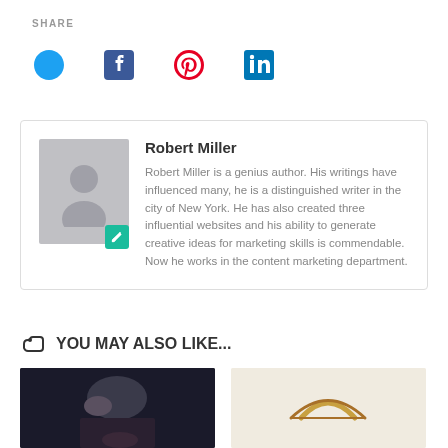SHARE
[Figure (infographic): Social media share icons: Twitter (blue bird), Facebook (blue f), Pinterest (red P), LinkedIn (blue in)]
Robert Miller
Robert Miller is a genius author. His writings have influenced many, he is a distinguished writer in the city of New York. He has also created three influential websites and his ability to generate creative ideas for marketing skills is commendable. Now he works in the content marketing department.
YOU MAY ALSO LIKE...
[Figure (photo): Two thumbnail images: left shows a woman's face (dark background), right shows eyeglasses on a light background]